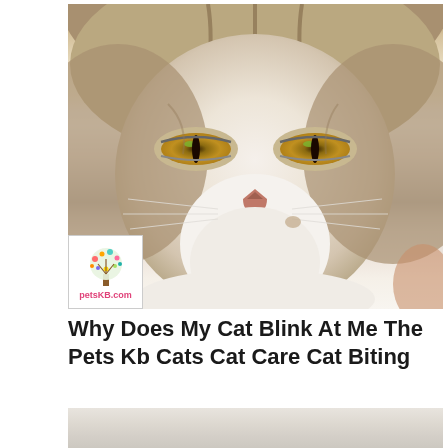[Figure (photo): Close-up photo of a grumpy-looking tabby cat with golden eyes, white and brown fur, prominent nose and whiskers. A petsKB.com logo watermark appears in the bottom-left corner of the image.]
Why Does My Cat Blink At Me The Pets Kb Cats Cat Care Cat Biting
[Figure (photo): Partial view of a second image at the bottom, appears to show a beige/tan textured surface or background.]